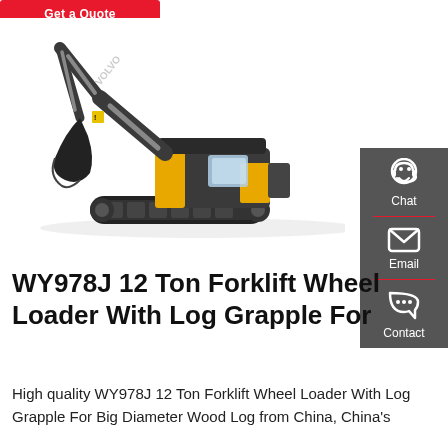[Figure (screenshot): Red 'Get a Quote' button at top left]
[Figure (photo): Volvo excavator with yellow and dark grey cab, large boom arm and bucket, on tracks, side view on white background]
[Figure (other): Dark grey sidebar with Chat (headset icon), Email (envelope icon), and Contact (speech bubble icon) with red dividers]
WY978J 12 Ton Forklift Wheel Loader With Log Grapple For
High quality WY978J 12 Ton Forklift Wheel Loader With Log Grapple For Big Diameter Wood Log from China, China's